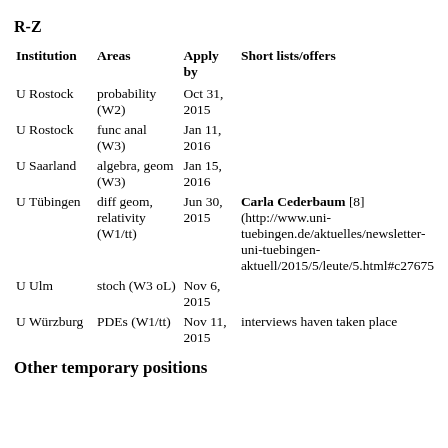R-Z
| Institution | Areas | Apply by | Short lists/offers |
| --- | --- | --- | --- |
| U Rostock | probability (W2) | Oct 31, 2015 |  |
| U Rostock | func anal (W3) | Jan 11, 2016 |  |
| U Saarland | algebra, geom (W3) | Jan 15, 2016 |  |
| U Tübingen | diff geom, relativity (W1/tt) | Jun 30, 2015 | Carla Cederbaum [8] (http://www.uni-tuebingen.de/aktuelles/newsletter-uni-tuebingen-aktuell/2015/5/leute/5.html#c27675 |
| U Ulm | stoch (W3 oL) | Nov 6, 2015 |  |
| U Würzburg | PDEs (W1/tt) | Nov 11, 2015 | interviews haven taken place |
Other temporary positions